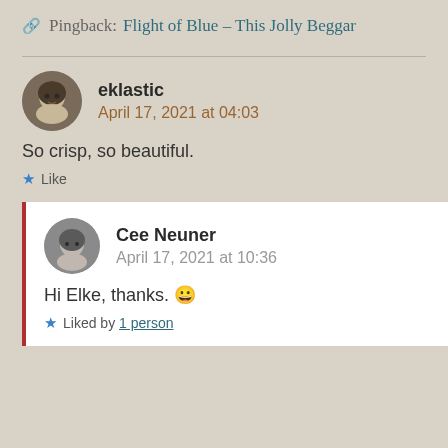Pingback: Flight of Blue – This Jolly Beggar
eklastic
April 17, 2021 at 04:03
So crisp, so beautiful.
Like
Cee Neuner
April 17, 2021 at 10:36
Hi Elke, thanks. 😀
Liked by 1 person